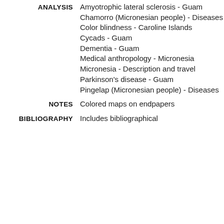ANALYSIS: Amyotrophic lateral sclerosis - Guam
Chamorro (Micronesian people) - Diseases
Color blindness - Caroline Islands
Cycads - Guam
Dementia - Guam
Medical anthropology - Micronesia
Micronesia - Description and travel
Parkinson's disease - Guam
Pingelap (Micronesian people) - Diseases
NOTES: Colored maps on endpapers
BIBLIOGRAPHY: Includes bibliographical